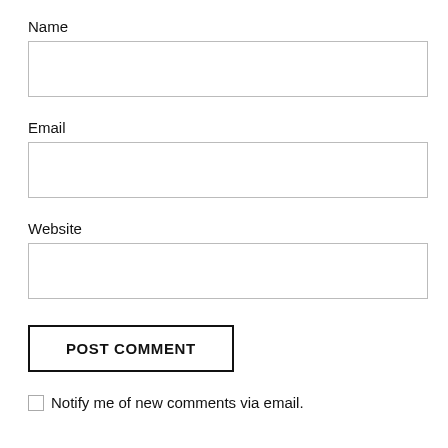Name
[Figure (other): Empty text input field for Name]
Email
[Figure (other): Empty text input field for Email]
Website
[Figure (other): Empty text input field for Website]
POST COMMENT
Notify me of new comments via email.